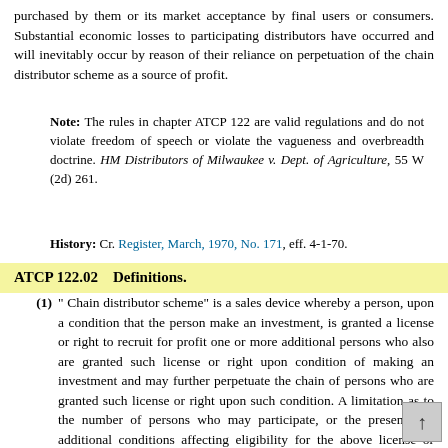purchased by them or its market acceptance by final users or consumers. Substantial economic losses to participating distributors have occurred and will inevitably occur by reason of their reliance on perpetuation of the chain distributor scheme as a source of profit.
Note: The rules in chapter ATCP 122 are valid regulations and do not violate freedom of speech or violate the vagueness and overbreadth doctrine. HM Distributors of Milwaukee v. Dept. of Agriculture, 55 W (2d) 261.
History: Cr. Register, March, 1970, No. 171, eff. 4-1-70.
ATCP 122.02    Definitions.
(1) " Chain distributor scheme" is a sales device whereby a person, upon a condition that the person make an investment, is granted a license or right to recruit for profit one or more additional persons who also are granted such license or right upon condition of making an investment and may further perpetuate the chain of persons who are granted such license or right upon such condition. A limitation as to the number of persons who may participate, or the presence of additional conditions affecting eligibility for the above license or right to recruit or the receipt of profits therefrom, does not change the identity of the scheme as a chain distributor scheme.
(2) “Investment” is any acquisition, for a consideration other than personal services, of personal property, tangible or intangible, for profit or business purposes, and includes, without